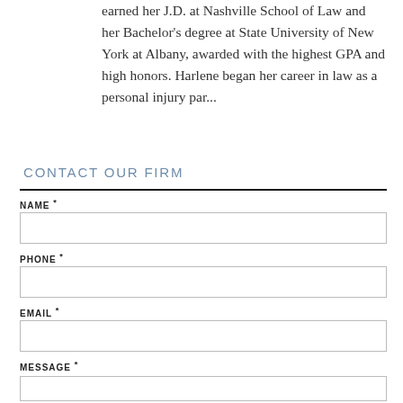earned her J.D. at Nashville School of Law and her Bachelor’s degree at State University of New York at Albany, awarded with the highest GPA and high honors. Harlene began her career in law as a personal injury par…
CONTACT OUR FIRM
NAME *
PHONE *
EMAIL *
MESSAGE *